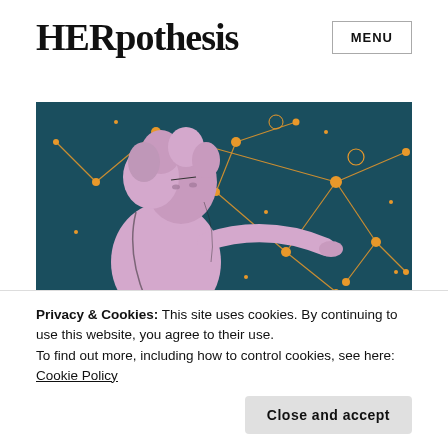HERpothesis
MENU
[Figure (illustration): Decorative banner illustration showing a classical figure (woman with curly hair) in pink/lavender tones against a dark teal/blue background with orange constellation lines and stars.]
Using
Privacy & Cookies: This site uses cookies. By continuing to use this website, you agree to their use.
To find out more, including how to control cookies, see here: Cookie Policy
Close and accept